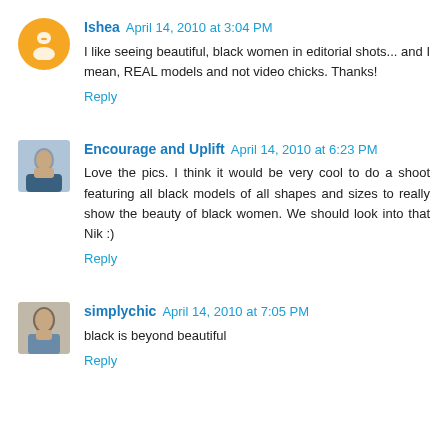Ishea April 14, 2010 at 3:04 PM
I like seeing beautiful, black women in editorial shots... and I mean, REAL models and not video chicks. Thanks!
Reply
Encourage and Uplift April 14, 2010 at 6:23 PM
Love the pics. I think it would be very cool to do a shoot featuring all black models of all shapes and sizes to really show the beauty of black women. We should look into that Nik :)
Reply
simplychic April 14, 2010 at 7:05 PM
black is beyond beautiful
Reply